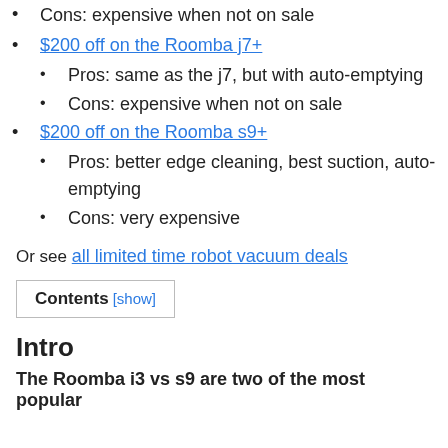Cons: expensive when not on sale
$200 off on the Roomba j7+
Pros: same as the j7, but with auto-emptying
Cons: expensive when not on sale
$200 off on the Roomba s9+
Pros: better edge cleaning, best suction, auto-emptying
Cons: very expensive
Or see all limited time robot vacuum deals
Contents [show]
Intro
The Roomba i3 vs s9 are two of the most popular